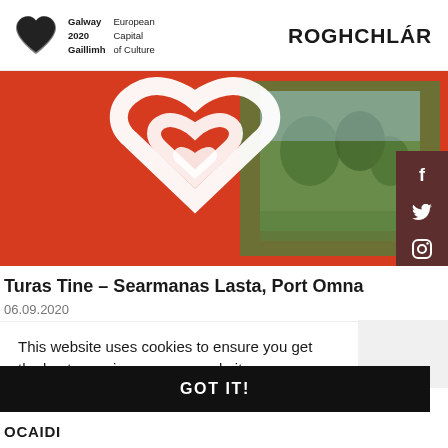[Figure (logo): Galway 2020 Gaillimh European Capital of Culture logo with heart symbol]
ROGHCHLÁR
[Figure (photo): Red background hero image with Galway 2020 heart logo overlaid on a scenic photo of a park/garden]
Turas Tine – Searmanas Lasta, Port Omna
06.09.2020
This website uses cookies to ensure you get the best experience on our website.
Learn more
GOT IT!
OCAIDI